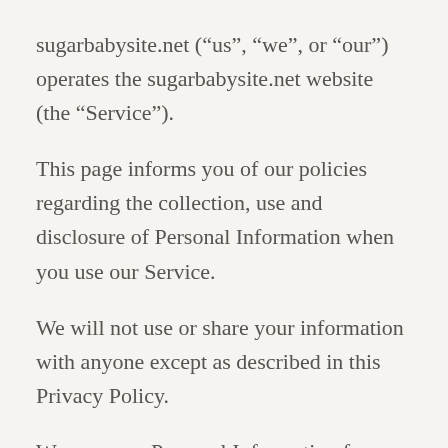sugarbabysite.net (“us”, “we”, or “our”) operates the sugarbabysite.net website (the “Service”).
This page informs you of our policies regarding the collection, use and disclosure of Personal Information when you use our Service.
We will not use or share your information with anyone except as described in this Privacy Policy.
We use your Personal Information for providing and improving the Service. By using the Service, you agree to the collection and use of information in accordance with this policy. Unless otherwise defined in this Privacy Policy, terms used in this Privacy Policy have the same